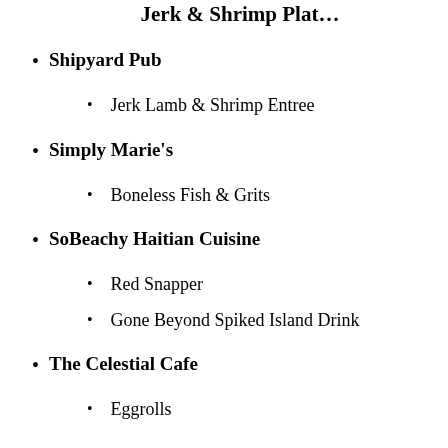Shipyard Pub
Jerk Lamb & Shrimp Entree
Simply Marie's
Boneless Fish & Grits
SoBeachy Haitian Cuisine
Red Snapper
Gone Beyond Spiked Island Drink
The Celestial Cafe
Eggrolls